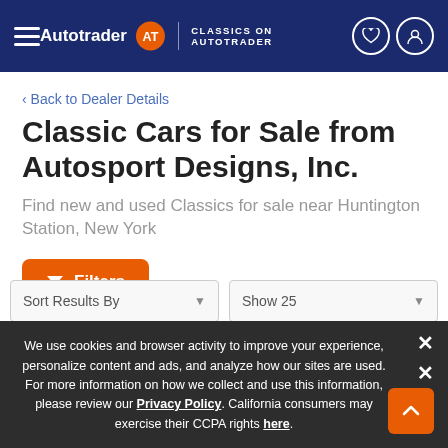Autotrader | CLASSICS ON AUTOTRADER
‹ Back to Dealer Details
Classic Cars for Sale from Autosport Designs, Inc.
Find new and used Classics for sale near Huntington Station, New York
Filters
Sort Results By   Show 25
We use cookies and browser activity to improve your experience, personalize content and ads, and analyze how our sites are used. For more information on how we collect and use this information, please review our Privacy Policy. California consumers may exercise their CCPA rights here.